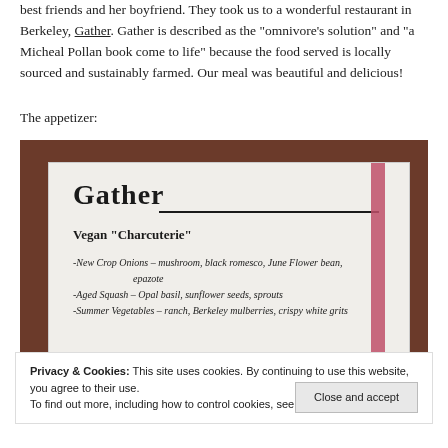best friends and her boyfriend. They took us to a wonderful restaurant in Berkeley, Gather. Gather is described as the “omnivore’s solution” and “a Micheal Pollan book come to life” because the food served is locally sourced and sustainably farmed. Our meal was beautiful and delicious!
The appetizer:
[Figure (photo): Photo of a Gather restaurant menu showing 'Gather' in bold serif font, with heading 'Vegan "Charcuterie"' and menu items: -New Crop Onions – mushroom, black romesco, June Flower bean, epazote; -Aged Squash – Opal basil, sunflower seeds, sprouts; -Summer Vegetables – ranch, Berkeley mulberries, crispy white grits. A pink/red stripe bookmark is visible on the right side.]
Privacy & Cookies: This site uses cookies. By continuing to use this website, you agree to their use.
To find out more, including how to control cookies, see here: Cookie Policy